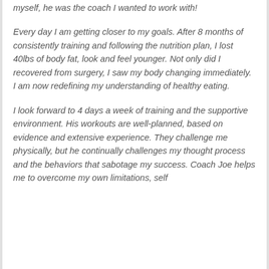myself, he was the coach I wanted to work with!
Every day I am getting closer to my goals. After 8 months of consistently training and following the nutrition plan, I lost 40lbs of body fat, look and feel younger. Not only did I recovered from surgery, I saw my body changing immediately. I am now redefining my understanding of healthy eating.
I look forward to 4 days a week of training and the supportive environment. His workouts are well-planned, based on evidence and extensive experience. They challenge me physically, but he continually challenges my thought process and the behaviors that sabotage my success. Coach Joe helps me to overcome my own limitations, self...